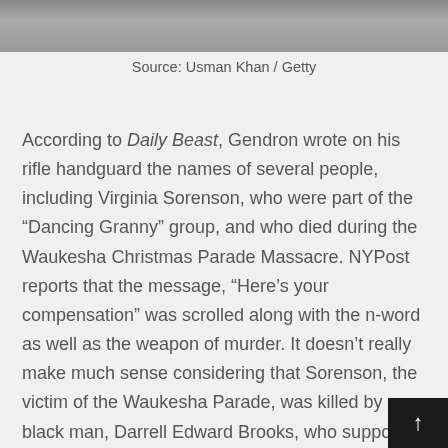[Figure (photo): Cropped bottom portion of an outdoor photo, partially visible]
Source: Usman Khan / Getty
According to Daily Beast, Gendron wrote on his rifle handguard the names of several people, including Virginia Sorenson, who were part of the “Dancing Granny” group, and who died during the Waukesha Christmas Parade Massacre. NYPost reports that the message, “Here’s your compensation” was scrolled along with the n-word as well as the weapon of murder. It doesn’t really make much sense considering that Sorenson, the victim of the Waukesha Parade, was killed by a black man, Darrell Edward Brooks, who supported the killing of white people. But we will not destroy brain cells by trying to decipher hatred.